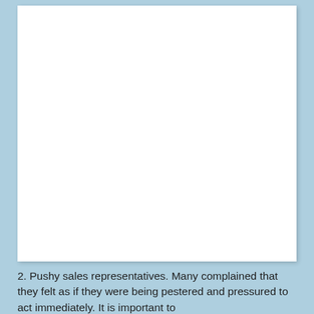[Figure (other): Large white blank rectangular area, likely an image placeholder or empty figure space.]
2. Pushy sales representatives. Many complained that they felt as if they were being pestered and pressured to act immediately. It is important to